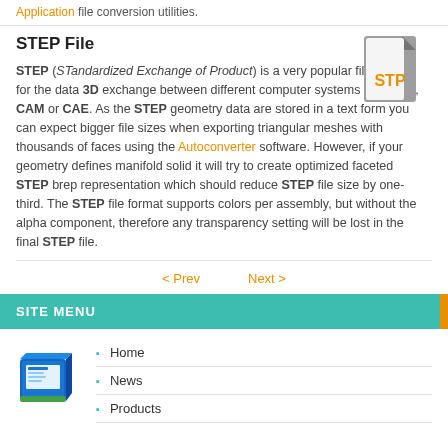Application file conversion utilities.
STEP File
[Figure (illustration): Gray file icon with orange STP label]
STEP (STandardized Exchange of Product) is a very popular file format for the data 3D exchange between different computer systems e.g. CAD, CAM or CAE. As the STEP geometry data are stored in a text form you can expect bigger file sizes when exporting triangular meshes with thousands of faces using the Autoconverter software. However, if your geometry defines manifold solid it will try to create optimized faceted STEP brep representation which should reduce STEP file size by one-third. The STEP file format supports colors per assembly, but without the alpha component, therefore any transparency setting will be lost in the final STEP file.
< Prev    Next >
SITE MENU
[Figure (illustration): Software product box icon]
Home
News
Products